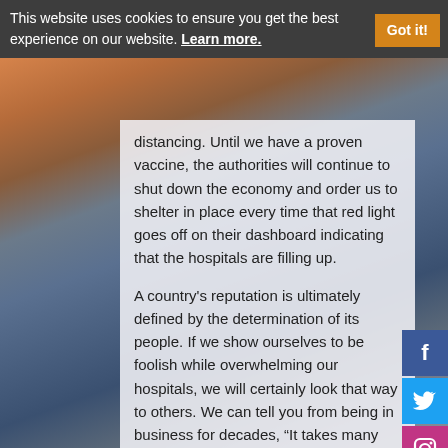This website uses cookies to ensure you get the best experience on our website. Learn more. Got it!
distancing. Until we have a proven vaccine, the authorities will continue to shut down the economy and order us to shelter in place every time that red light goes off on their dashboard indicating that the hospitals are filling up.
A country's reputation is ultimately defined by the determination of its people. If we show ourselves to be foolish while overwhelming our hospitals, we will certainly look that way to others. We can tell you from being in business for decades, “It takes many years to build a good reputation, but you can lose it in a minute!”
Compassion should be driving our resolve to put out this “fire”! As the song say’s “…and crown thy good with brotherhood, from sea to shining sea”! Where is the brotherhood these days? But
[Figure (other): Social media sidebar icons: Facebook, Twitter, Instagram, YouTube, RSS]